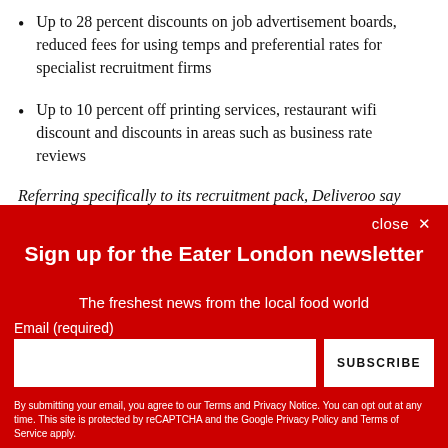Up to 28 percent discounts on job advertisement boards, reduced fees for using temps and preferential rates for specialist recruitment firms
Up to 10 percent off printing services, restaurant wifi discount and discounts in areas such as business rate reviews
Referring specifically to its recruitment pack, Deliveroo say
close ×
Sign up for the Eater London newsletter
The freshest news from the local food world
Email (required)
SUBSCRIBE
By submitting your email, you agree to our Terms and Privacy Notice. You can opt out at any time. This site is protected by reCAPTCHA and the Google Privacy Policy and Terms of Service apply.